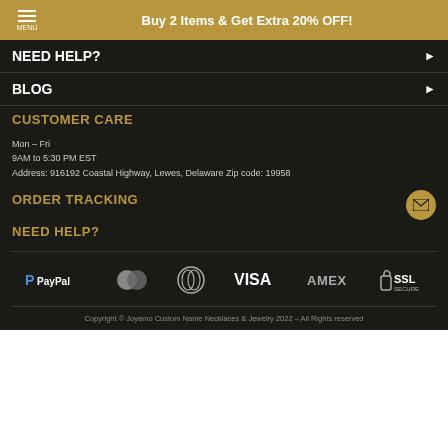Buy 2 Items & Get Extra 20% OFF!
NEED HELP?
BLOG
CUSTOMER CARE
Mon – Fri
9AM to 5:30 PM EST
Address: 916192 Coastal Highway, Lewes, Delaware Zip code: 19958
ORDER TRACKING
NEED HELP?
[Figure (infographic): Payment method logos: PayPal, Mastercard, Diners Club, VISA, AMEX, SSL Secure]
Copyright © Joyamo Custom Name Necklaces & Jewelry 2022 – All Rights reserved